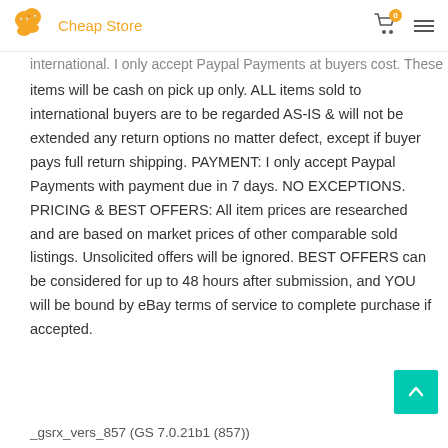Cheap Store
international. I only accept Paypal Payments at buyers cost.  These items will be cash on pick up only.  ALL items sold to international buyers are to be regarded AS-IS & will not be extended any return options no matter defect, except if buyer pays full return shipping. PAYMENT: I only accept Paypal Payments with payment due in 7 days.  NO EXCEPTIONS.  PRICING & BEST OFFERS: All item prices are researched and are based on market prices of other comparable sold listings.  Unsolicited offers will be ignored.  BEST OFFERS can be considered for up to 48 hours after submission, and YOU will be bound by eBay terms of service to complete purchase if accepted.
_gsrx_vers_857 (GS 7.0.21b1 (857))